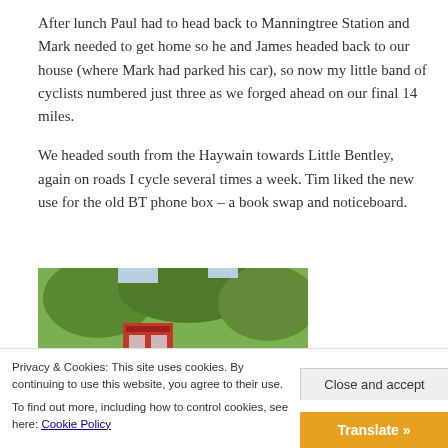After lunch Paul had to head back to Manningtree Station and Mark needed to get home so he and James headed back to our house (where Mark had parked his car), so now my little band of cyclists numbered just three as we forged ahead on our final 14 miles.
We headed south from the Haywain towards Little Bentley, again on roads I cycle several times a week. Tim liked the new use for the old BT phone box – a book swap and noticeboard.
[Figure (photo): Partial photo of a red BT phone box with green trees in the background]
Privacy & Cookies: This site uses cookies. By continuing to use this website, you agree to their use.
To find out more, including how to control cookies, see here: Cookie Policy
Close and accept
Translate »